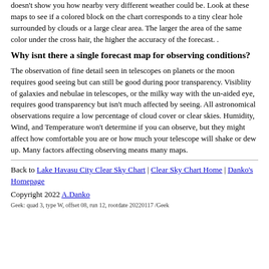doesn't show you how nearby very different weather could be. Look at these maps to see if a colored block on the chart corresponds to a tiny clear hole surrounded by clouds or a large clear area. The larger the area of the same color under the cross hair, the higher the accuracy of the forecast. .
Why isnt there a single forecast map for observing conditions?
The observation of fine detail seen in telescopes on planets or the moon requires good seeing but can still be good during poor transparency. Visiblity of galaxies and nebulae in telescopes, or the milky way with the un-aided eye, requires good transparency but isn't much affected by seeing. All astronomical observations require a low percentage of cloud cover or clear skies. Humidity, Wind, and Temperature won't determine if you can observe, but they might affect how comfortable you are or how much your telescope will shake or dew up. Many factors affecting observing means many maps.
Back to Lake Havasu City Clear Sky Chart | Clear Sky Chart Home | Danko's Homepage
Copyright 2022 A.Danko
Geek: quad 3, type W, offset 08, run 12, rootdate 20220117 /Geek